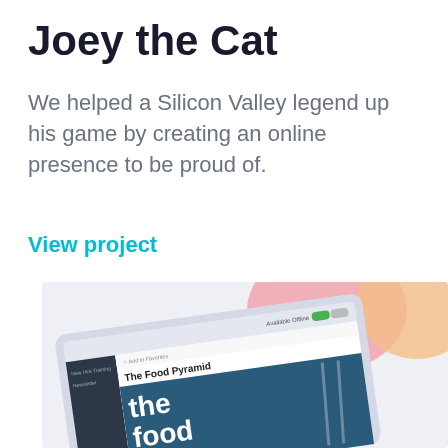Joey the Cat
We helped a Silicon Valley legend up his game by creating an online presence to be proud of.
View project
[Figure (screenshot): Screenshot of a tablet device showing a web application with 'The Food Pyramid' content. The tablet is slightly rotated and displays a sidebar navigation, a top bar with 'Available Offline' toggle, and a content area showing 'The Food Pyramid' heading over a dark teal background with large white text reading 'the food'. Pink and orange blob shapes appear in the background behind the tablet.]